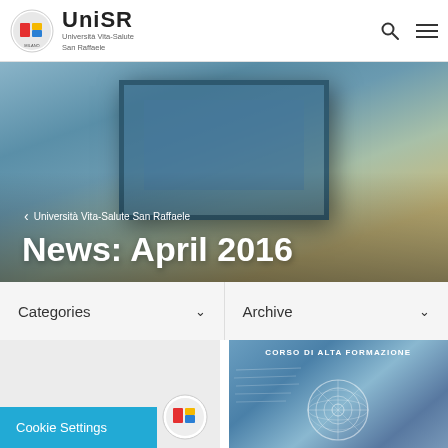UniSR – Università Vita-Salute San Raffaele
[Figure (screenshot): Hero banner with blurred architectural photo showing a glass skylight structure, with breadcrumb and title overlay]
‹ Università Vita-Salute San Raffaele
News: April 2016
Categories ∨
Archive ∨
[Figure (photo): Light gray placeholder card thumbnail]
[Figure (photo): Corso di Alta Formazione card with compass/astrolabe decorative image on blue background]
Cookie Settings